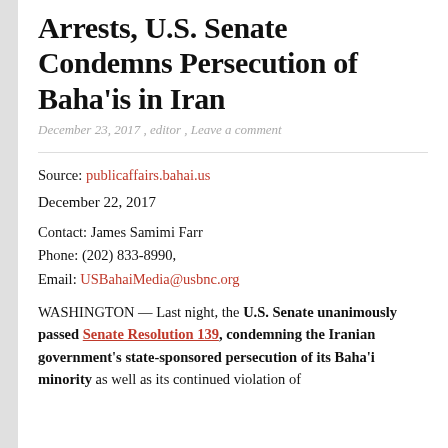Arrests, U.S. Senate Condemns Persecution of Baha'is in Iran
December 23, 2017 , editor , Leave a comment
Source: publicaffairs.bahai.us
December 22, 2017
Contact: James Samimi Farr
Phone: (202) 833-8990,
Email: USBahaiMedia@usbnc.org
WASHINGTON — Last night, the U.S. Senate unanimously passed Senate Resolution 139, condemning the Iranian government's state-sponsored persecution of its Baha'i minority as well as its continued violation of